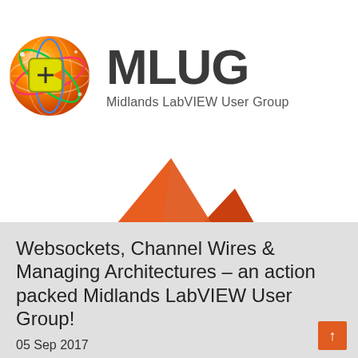[Figure (logo): MLUG Midlands LabVIEW User Group logo — orange globe with LabVIEW arrow icon and text 'MLUG' in large dark gray letters, subtitle 'Midlands LabVIEW User Group']
[Figure (logo): MATLAB / MathWorks mountain logo — two orange triangular peaks on white background]
Websockets, Channel Wires & Managing Architectures – an action packed Midlands LabVIEW User Group!
05 Sep 2017